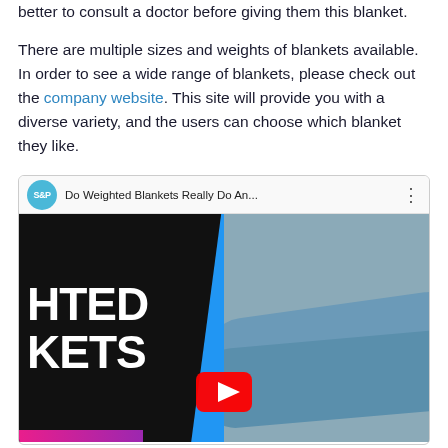better to consult a doctor before giving them this blanket.
There are multiple sizes and weights of blankets available. In order to see a wide range of blankets, please check out the company website. This site will provide you with a diverse variety, and the users can choose which blanket they like.
[Figure (screenshot): YouTube video thumbnail showing a weighted blankets video titled 'Do Weighted Blankets Really Do An...' with a YouTube play button in the center. The thumbnail shows large text 'HTED KETS' (partial text for WEIGHTED BLANKETS) on a dark background on the left side, and a person covered with a light blue blanket on the right side.]